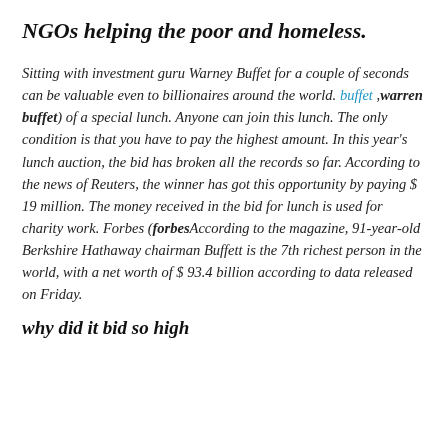NGOs helping the poor and homeless.
Sitting with investment guru Warney Buffet for a couple of seconds can be valuable even to billionaires around the world. buffet ,warren buffet) of a special lunch. Anyone can join this lunch. The only condition is that you have to pay the highest amount. In this year's lunch auction, the bid has broken all the records so far. According to the news of Reuters, the winner has got this opportunity by paying $ 19 million. The money received in the bid for lunch is used for charity work. Forbes (forbesAccording to the magazine, 91-year-old Berkshire Hathaway chairman Buffett is the 7th richest person in the world, with a net worth of $ 93.4 billion according to data released on Friday.
why did it bid so high